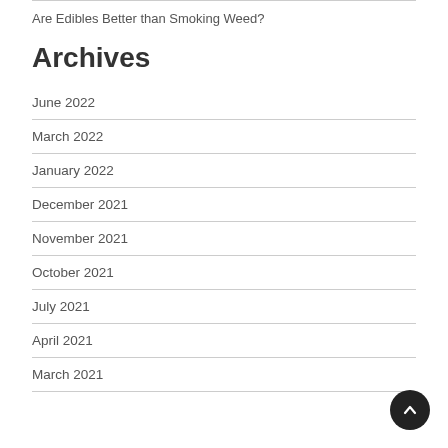Are Edibles Better than Smoking Weed?
Archives
June 2022
March 2022
January 2022
December 2021
November 2021
October 2021
July 2021
April 2021
March 2021